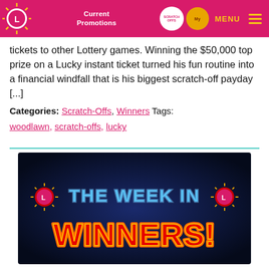Current Promotions | SCRATCH OFFS | My [Rewards] | MENU
tickets to other Lottery games. Winning the $50,000 top prize on a Lucky instant ticket turned his fun routine into a financial windfall that is his biggest scratch-off payday [...]
Categories: Scratch-Offs, Winners Tags: woodlawn, scratch-offs, lucky
[Figure (illustration): Promotional graphic with dark blue background showing 'THE WEEK IN WINNERS!' text in neon-style lettering. 'THE WEEK IN' is in blue neon, 'WINNERS!' is in red/orange neon, with lottery sunburst logos on either side.]